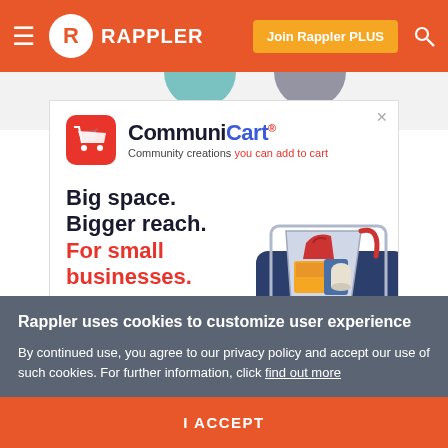Rappler — Join Rappler PLUS
[Figure (screenshot): Partial circular profile images visible at top of page below navbar]
[Figure (infographic): CommuniCart advertisement banner: logo with shopping cart icon, text 'CommuniCart — Community creations you can add to cart', tagline 'Big space. Bigger reach. For small businesses.' with illustration of shopping cart full of goods on a smartphone]
Rappler uses cookies to customize user experience
By continued use, you agree to our privacy policy and accept our use of such cookies. For further information, click find out more
I ACCEPT